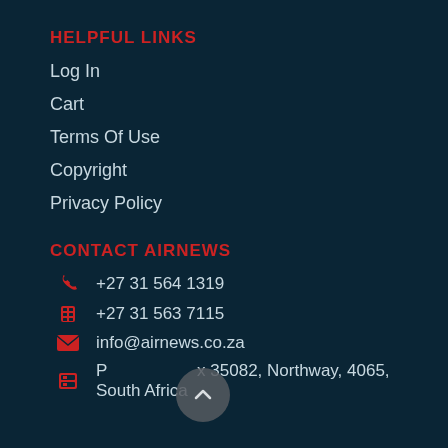HELPFUL LINKS
Log In
Cart
Terms Of Use
Copyright
Privacy Policy
CONTACT AIRNEWS
+27 31 564 1319
+27 31 563 7115
info@airnews.co.za
PO Box 35082, Northway, 4065, South Africa